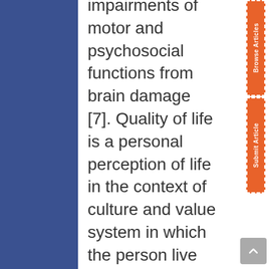impairments of motor and psychosocial functions from brain damage [7]. Quality of life is a personal perception of life in the context of culture and value system in which the person live and in relation to goals and expectations